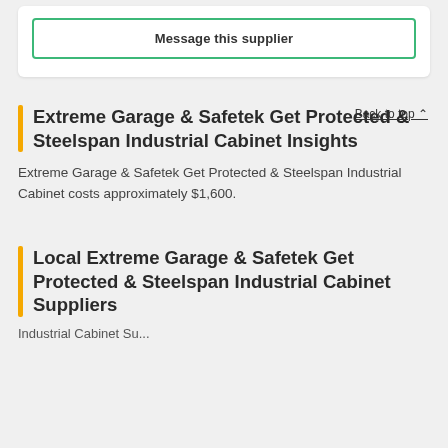Message this supplier
Extreme Garage & Safetek Get Protected & Steelspan Industrial Cabinet Insights
Back to top
Extreme Garage & Safetek Get Protected & Steelspan Industrial Cabinet costs approximately $1,600.
Local Extreme Garage & Safetek Get Protected & Steelspan Industrial Cabinet Suppliers
Industrial Cabinet Suppliers